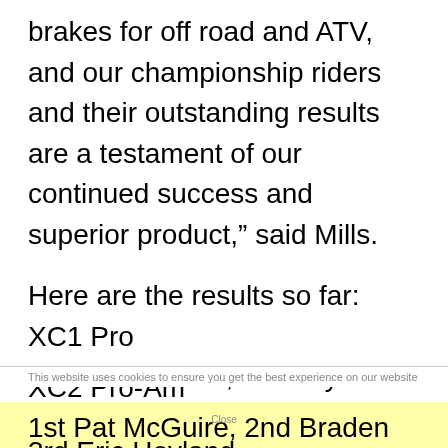brakes for off road and ATV, and our championship riders and their outstanding results are a testament of our continued success and superior product,” said Mills.
Here are the results so far:
XC1 Pro
1st Chris Borich, 2nd Taylor Kiser, 3rd Walker Fowler, 4th Adam McGill, 5th Chris Bithell,
XC2 Pro-Am
1st Pat McGuire, 2nd Braden Henthorn,
3rd Eric Hoyland